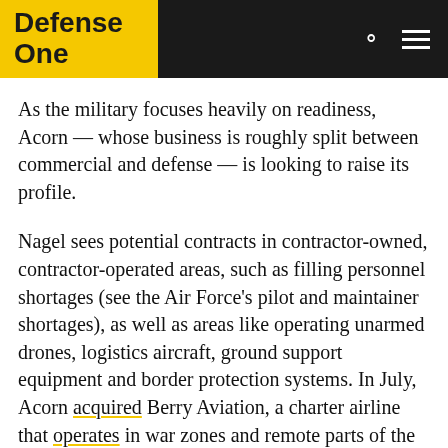Defense One
As the military focuses heavily on readiness, Acorn — whose business is roughly split between commercial and defense — is looking to raise its profile.
Nagel sees potential contracts in contractor-owned, contractor-operated areas, such as filling personnel shortages (see the Air Force's pilot and maintainer shortages), as well as areas like operating unarmed drones, logistics aircraft, ground support equipment and border protection systems. In July, Acorn acquired Berry Aviation, a charter airline that operates in war zones and remote parts of the world.
Specialty manufacturing is another possibility, he said. Even though the military talks a lot about using 3D printing to replace obsolete parts, Nagel said they are